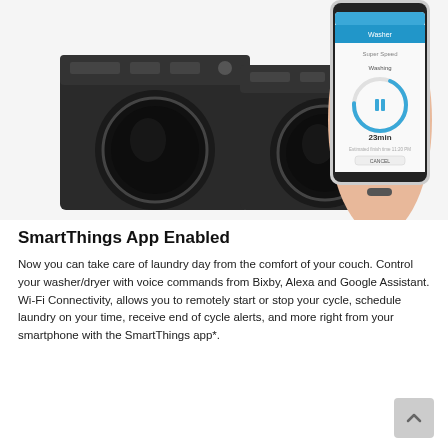[Figure (photo): Samsung front-load washer and dryer pair in black, shown alongside a hand holding a smartphone displaying the SmartThings app with a laundry cycle timer showing 23min.]
SmartThings App Enabled
Now you can take care of laundry day from the comfort of your couch. Control your washer/dryer with voice commands from Bixby, Alexa and Google Assistant. Wi-Fi Connectivity, allows you to remotely start or stop your cycle, schedule laundry on your time, receive end of cycle alerts, and more right from your smartphone with the SmartThings app*.